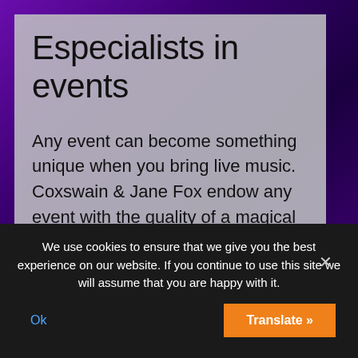Especialists in events
Any event can become something unique when you bring live music. Coxswain & Jane Fox endow any event with the quality of a magical moment. Contact us to inform us about the type of event you want to perform and we take care of providing you with the best live music
We use cookies to ensure that we give you the best experience on our website. If you continue to use this site we will assume that you are happy with it.
Ok
Translate »